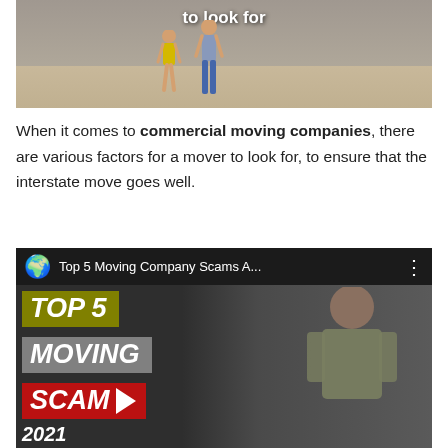[Figure (photo): Photo of two people standing in an empty room with wooden floor, partially visible with overlay text 'to look for']
When it comes to commercial moving companies, there are various factors for a mover to look for, to ensure that the interstate move goes well.
[Figure (screenshot): YouTube video thumbnail titled 'Top 5 Moving Company Scams A...' showing a man and bold text overlays reading TOP 5, MOVING, SCAM, 2021]